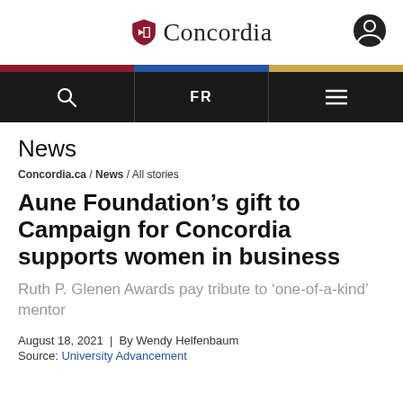Concordia
News
Concordia.ca / News / All stories
Aune Foundation’s gift to Campaign for Concordia supports women in business
Ruth P. Glenen Awards pay tribute to ‘one-of-a-kind’ mentor
August 18, 2021 | By Wendy Helfenbaum
Source: University Advancement